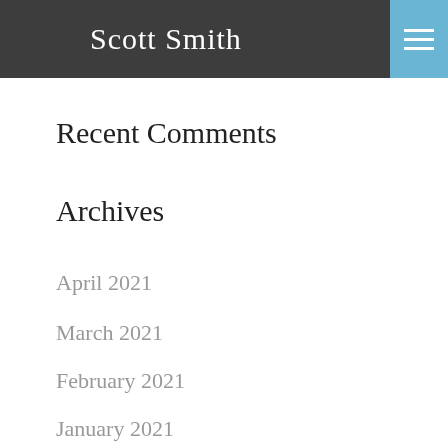Scott Smith
Recent Comments
Archives
April 2021
March 2021
February 2021
January 2021
December 2020